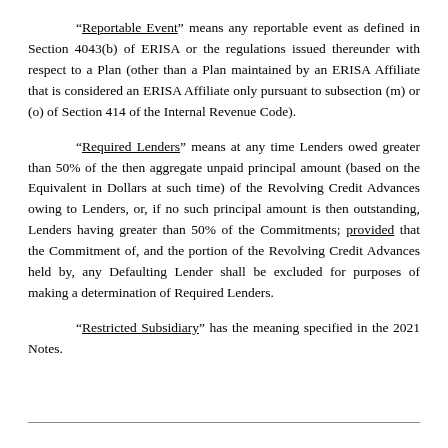“Reportable Event” means any reportable event as defined in Section 4043(b) of ERISA or the regulations issued thereunder with respect to a Plan (other than a Plan maintained by an ERISA Affiliate that is considered an ERISA Affiliate only pursuant to subsection (m) or (o) of Section 414 of the Internal Revenue Code).
“Required Lenders” means at any time Lenders owed greater than 50% of the then aggregate unpaid principal amount (based on the Equivalent in Dollars at such time) of the Revolving Credit Advances owing to Lenders, or, if no such principal amount is then outstanding, Lenders having greater than 50% of the Commitments; provided that the Commitment of, and the portion of the Revolving Credit Advances held by, any Defaulting Lender shall be excluded for purposes of making a determination of Required Lenders.
“Restricted Subsidiary” has the meaning specified in the 2021 Notes.